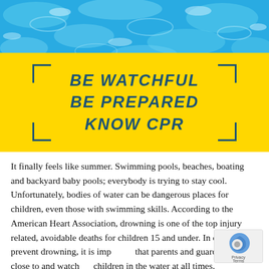[Figure (photo): Swimming pool water surface viewed from above, blue water with light reflections, top portion of the image]
BE WATCHFUL
BE PREPARED
KNOW CPR
It finally feels like summer. Swimming pools, beaches, boating and backyard baby pools; everybody is trying to stay cool. Unfortunately, bodies of water can be dangerous places for children, even those with swimming skills. According to the American Heart Association, drowning is one of the top injury related, avoidable deaths for children 15 and under. In order to prevent drowning, it is important that parents and guardians stay close to and watch children in the water at all times.